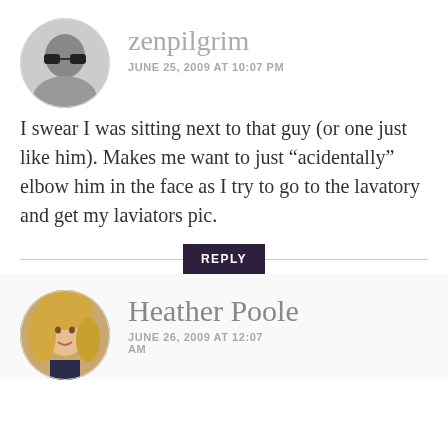[Figure (photo): Circular avatar photo of zenpilgrim: black and white photo of a man wearing dark sunglasses]
zenpilgrim
JUNE 25, 2009 AT 10:07 PM
I swear I was sitting next to that guy (or one just like him). Makes me want to just “acidentally” elbow him in the face as I try to go to the lavatory and get my laviators pic.
REPLY
[Figure (photo): Circular avatar photo of Heather Poole: color photo of a blonde woman smiling]
Heather Poole
JUNE 26, 2009 AT 12:07 AM